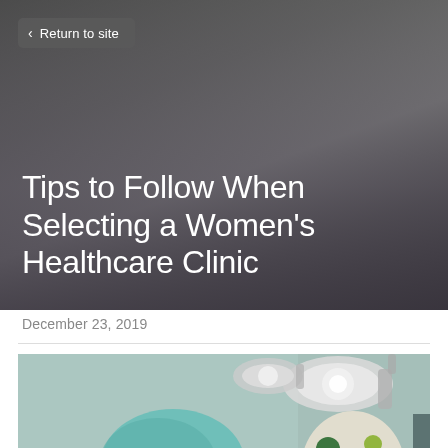< Return to site
Tips to Follow When Selecting a Women's Healthcare Clinic
December 23, 2019
[Figure (photo): Surgeon or medical professional in teal scrub cap and mask working in an operating room, with surgical lights visible overhead and a colorful patterned object in the right side. A 'CREATE A SITE WITH strikingly' banner overlays the bottom of the image.]